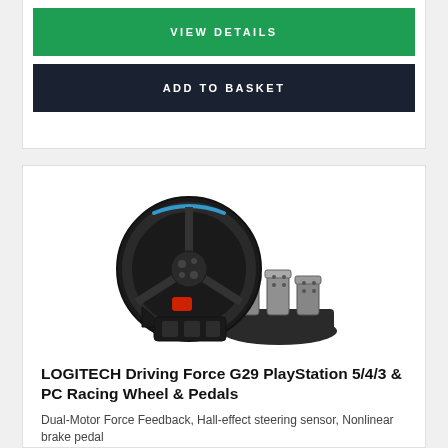VIEW DETAILS
ADD TO BASKET
[Figure (photo): Logitech G29 Driving Force racing wheel with pedals set on white background]
LOGITECH Driving Force G29 PlayStation 5/4/3 & PC Racing Wheel & Pedals
Dual-Motor Force Feedback, Hall-effect steering sensor, Nonlinear brake pedal